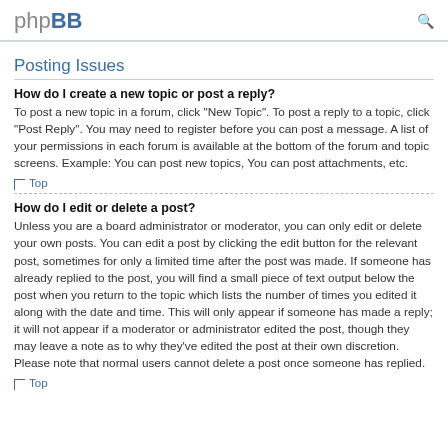phpBB
Posting Issues
How do I create a new topic or post a reply?
To post a new topic in a forum, click "New Topic". To post a reply to a topic, click "Post Reply". You may need to register before you can post a message. A list of your permissions in each forum is available at the bottom of the forum and topic screens. Example: You can post new topics, You can post attachments, etc.
Top
How do I edit or delete a post?
Unless you are a board administrator or moderator, you can only edit or delete your own posts. You can edit a post by clicking the edit button for the relevant post, sometimes for only a limited time after the post was made. If someone has already replied to the post, you will find a small piece of text output below the post when you return to the topic which lists the number of times you edited it along with the date and time. This will only appear if someone has made a reply; it will not appear if a moderator or administrator edited the post, though they may leave a note as to why they've edited the post at their own discretion. Please note that normal users cannot delete a post once someone has replied.
Top